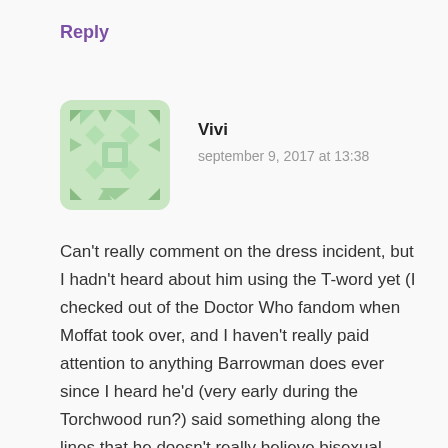Reply
[Figure (illustration): Green geometric/mosaic pattern avatar for user Vivi]
Vivi
september 9, 2017 at 13:38
Can't really comment on the dress incident, but I hadn't heard about him using the T-word yet (I checked out of the Doctor Who fandom when Moffat took over, and I haven't really paid attention to anything Barrowman does ever since I heard he'd (very early during the Torchwood run?) said something along the lines that he doesn't really believe bisexual men exist…).
Just… Wow. How do you not realize that's a